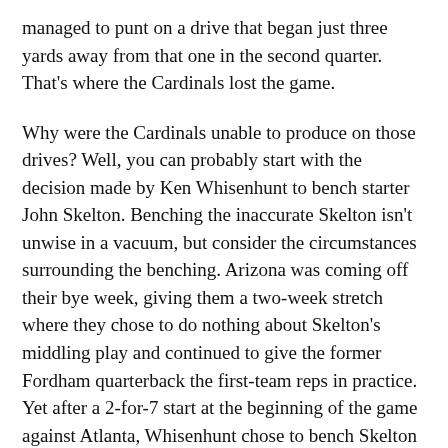managed to punt on a drive that began just three yards away from that one in the second quarter. That's where the Cardinals lost the game.
Why were the Cardinals unable to produce on those drives? Well, you can probably start with the decision made by Ken Whisenhunt to bench starter John Skelton. Benching the inaccurate Skelton isn't unwise in a vacuum, but consider the circumstances surrounding the benching. Arizona was coming off their bye week, giving them a two-week stretch where they chose to do nothing about Skelton's middling play and continued to give the former Fordham quarterback the first-team reps in practice. Yet after a 2-for-7 start at the beginning of the game against Atlanta, Whisenhunt chose to bench Skelton — who had a 13-0 lead at the time — for rookie sixth-rounder Ryan Lindley, who proceeded to go for 9-for-20 for 64 yards while losing a fumble that was